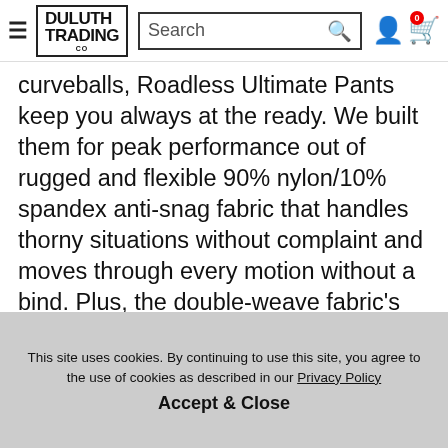Duluth Trading Co — navigation bar with hamburger menu, logo, search box, user icon, and cart
curveballs, Roadless Ultimate Pants keep you always at the ready. We built them for peak performance out of rugged and flexible 90% nylon/10% spandex anti-snag fabric that handles thorny situations without complaint and moves through every motion without a bind. Plus, the double-weave fabric's texture keeps it raised off your skin, enhancing airflow on muggy days in the wild. Made for wear and tear common on the trail, thanks to abrasion-resistant, ripstop reinforcement at the rear and boot scuffs – go ahead and take a seat on the next boulder. UPF 50 sun protection helps keep your skin from crisping up in the sun. With even more performance built-in, like a water-
This site uses cookies. By continuing to use this site, you agree to the use of cookies as described in our Privacy Policy
Accept & Close